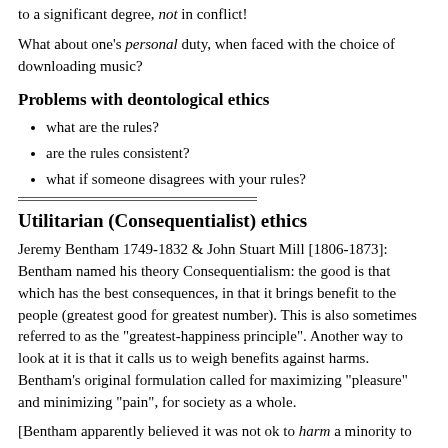to a significant degree, not in conflict!
What about one's personal duty, when faced with the choice of downloading music?
Problems with deontological ethics
what are the rules?
are the rules consistent?
what if someone disagrees with your rules?
Utilitarian (Consequentialist) ethics
Jeremy Bentham 1749-1832 & John Stuart Mill [1806-1873]: Bentham named his theory Consequentialism: the good is that which has the best consequences, in that it brings benefit to the people (greatest good for greatest number). This is also sometimes referred to as the "greatest-happiness principle". Another way to look at it is that it calls us to weigh benefits against harms. Bentham's original formulation called for maximizing "pleasure" and minimizing "pain", for society as a whole.
[Bentham apparently believed it was not ok to harm a minority to